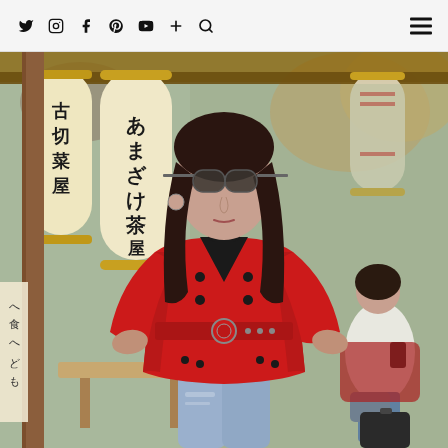Social media icons: Twitter, Instagram, Facebook, Pinterest, YouTube, Plus, Search | Hamburger menu
[Figure (photo): A woman with dark hair wearing sunglasses, a red belted double-breasted leather jacket, black turtleneck, and light blue ripped jeans, standing in front of a Japanese restaurant with paper lanterns bearing Japanese characters (あまざけ茶屋). A woman in the background sits on a red chair looking at her phone. Autumn foliage visible in background.]